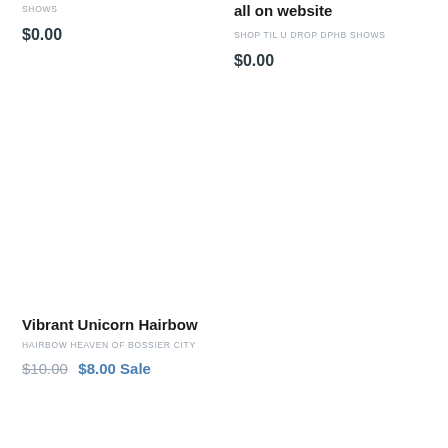SHOWS
$0.00
all on website
SHOP TIL U DROP DPHB SHOWS
$0.00
Vibrant Unicorn Hairbow
HAIRBOW HEAVEN OF BOSSIER CITY
$10.00  $8.00 Sale